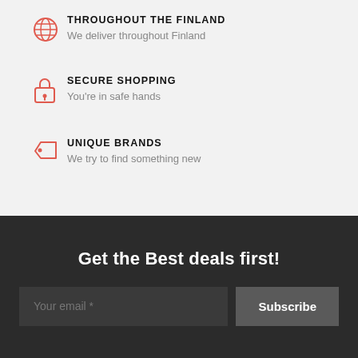THROUGHOUT THE FINLAND — We deliver throughout Finland
SECURE SHOPPING — You're in safe hands
UNIQUE BRANDS — We try to find something new
Get the Best deals first!
Your email *
Subscribe